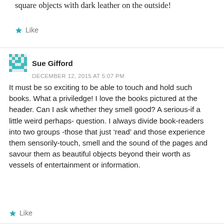square objects with dark leather on the outside!
Like
Sue Gifford
DECEMBER 12, 2015 AT 5:07 PM
It must be so exciting to be able to touch and hold such books. What a priviledge! I love the books pictured at the header. Can I ask whether they smell good? A serious-if a little weird perhaps- question. I always divide book-readers into two groups -those that just ‘read’ and those experience them sensorily-touch, smell and the sound of the pages and savour them as beautiful objects beyond their worth as vessels of entertainment or information.
Like